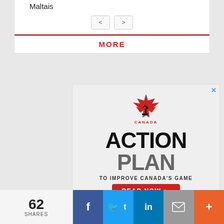Maltais
< >
MORE
[Figure (infographic): Hockey Canada Action Plan advertisement. Features Hockey Canada maple leaf logo, large text reading ACTION PLAN TO IMPROVE CANADA'S GAME, and a red READ NOW button with arrow.]
62 SHARES
f
Twitter bird icon
in
Email icon
+